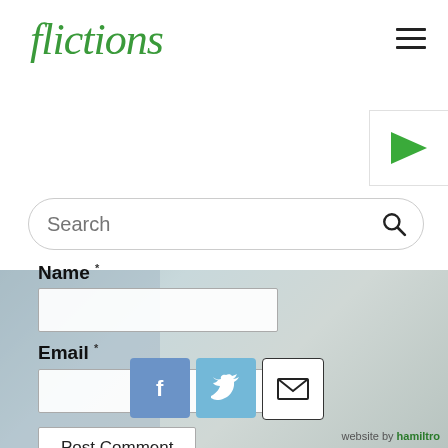flictions
[Figure (illustration): Green right-pointing arrow/play button in a white bordered box]
[Figure (screenshot): Search bar with placeholder text 'Search' and magnifier icon]
Name *
[Figure (screenshot): Name text input field (empty)]
Email *
[Figure (screenshot): Email text input field (empty)]
[Figure (screenshot): Post Comment button]
[Figure (screenshot): Social share icons: Facebook (blue f), Twitter (blue bird), Email (envelope)]
website by hamiltro